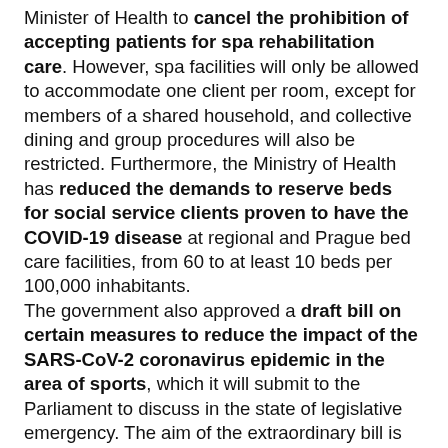Minister of Health to cancel the prohibition of accepting patients for spa rehabilitation care. However, spa facilities will only be allowed to accommodate one client per room, except for members of a shared household, and collective dining and group procedures will also be restricted. Furthermore, the Ministry of Health has reduced the demands to reserve beds for social service clients proven to have the COVID-19 disease at regional and Prague bed care facilities, from 60 to at least 10 beds per 100,000 inhabitants.
The government also approved a draft bill on certain measures to reduce the impact of the SARS-CoV-2 coronavirus epidemic in the area of sports, which it will submit to the Parliament to discuss in the state of legislative emergency. The aim of the extraordinary bill is to help associations and sports organizations that were impacted by the coronavirus crisis. The reason is that none of the programs for assistance to economic entities declared by the government to date applies to these non-profit organisations. Therefore, the government proposes in this draft bill to extend the authority of the National